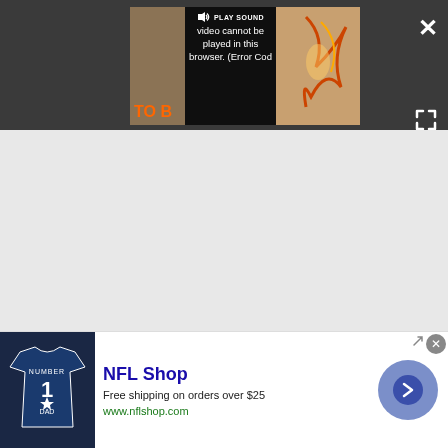[Figure (screenshot): Video player UI with dark background. Shows a video thumbnail partially visible with text 'TO B' in orange on left side, and an error overlay reading 'PLAY SOUND video cannot be played in this browser. (Error Cod'. White X close button top right, fullscreen icon bottom right.]
[Figure (screenshot): Advertisement banner for NFL Shop. Shows a Dallas Cowboys jersey on dark navy background on the left. Text reads 'NFL Shop', 'Free shipping on orders over $25', 'www.nflshop.com'. Blue circular arrow/chevron button on the right. Ad close X button in top right corner.]